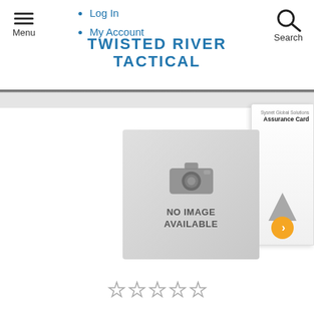TWISTED RIVER TACTICAL
Log In
My Account
[Figure (screenshot): No image available placeholder with camera icon]
[Figure (other): Sysnet Global Solutions Assurance Card advertisement panel on right side]
Five empty star rating icons